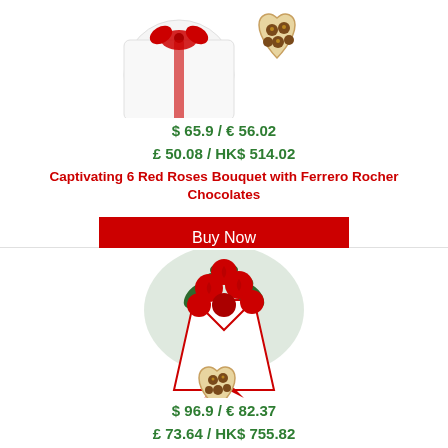[Figure (photo): Product photo: white gift box with red ribbon bow and heart-shaped Ferrero Rocher chocolate box]
$ 65.9 / € 56.02
£ 50.08 / HK$ 514.02
Captivating 6 Red Roses Bouquet with Ferrero Rocher Chocolates
Buy Now
[Figure (photo): Product photo: red roses bouquet with green leaves wrapped in red and white paper, with heart-shaped Ferrero Rocher chocolate box]
$ 96.9 / € 82.37
£ 73.64 / HK$ 755.82